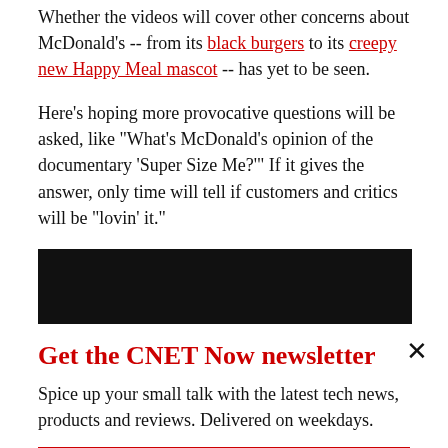Whether the videos will cover other concerns about McDonald's -- from its black burgers to its creepy new Happy Meal mascot -- has yet to be seen.
Here's hoping more provocative questions will be asked, like "What's McDonald's opinion of the documentary 'Super Size Me?'" If it gives the answer, only time will tell if customers and critics will be "lovin' it."
[Figure (screenshot): Black video player placeholder with a circular play button outline at the bottom center]
Get the CNET Now newsletter
Spice up your small talk with the latest tech news, products and reviews. Delivered on weekdays.